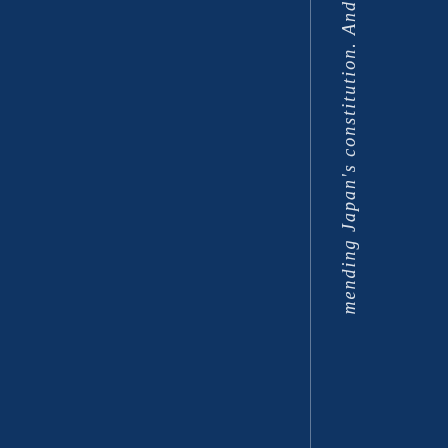mending Japan's constitution. And